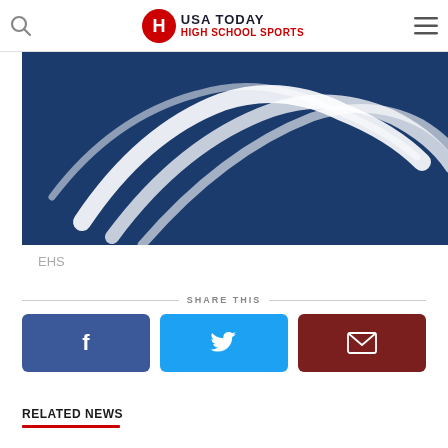USA TODAY HIGH SCHOOL SPORTS
[Figure (photo): Blue background with white stylized eagle/lightning bolt graphic — EHS team logo or mascot]
EHS
SHARE THIS
[Figure (infographic): Three social share buttons: Facebook (blue), Twitter (light blue), Email (dark red)]
RELATED NEWS